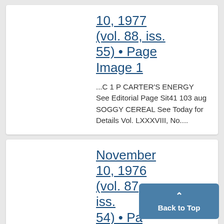10, 1977 (vol. 88, iss. 55) • Page Image 1
...C 1 P CARTER'S ENERGY See Editorial Page Sit41 103 aug SOGGY CEREAL See Today for Details Vol. LXXXVIII, No....
November 10, 1976 (vol. 87, iss. 54) • Page Image 1
Back to Top